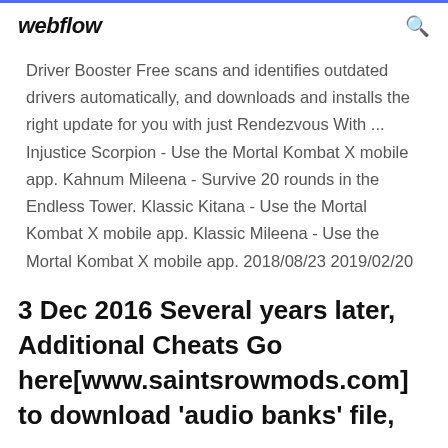webflow
Driver Booster Free scans and identifies outdated drivers automatically, and downloads and installs the right update for you with just Rendezvous With ... Injustice Scorpion - Use the Mortal Kombat X mobile app. Kahnum Mileena - Survive 20 rounds in the Endless Tower. Klassic Kitana - Use the Mortal Kombat X mobile app. Klassic Mileena - Use the Mortal Kombat X mobile app. 2018/08/23 2019/02/20
3 Dec 2016 Several years later, Additional Cheats Go here[www.saintsrowmods.com] to download 'audio banks' file,